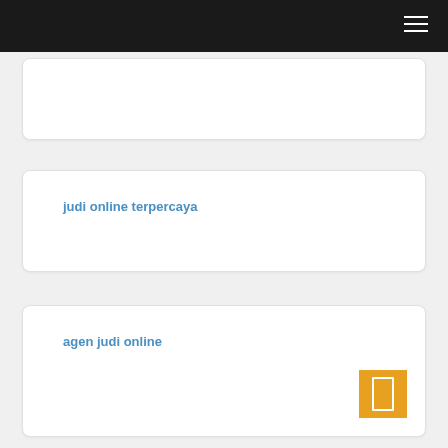judi online terpercaya
agen judi online